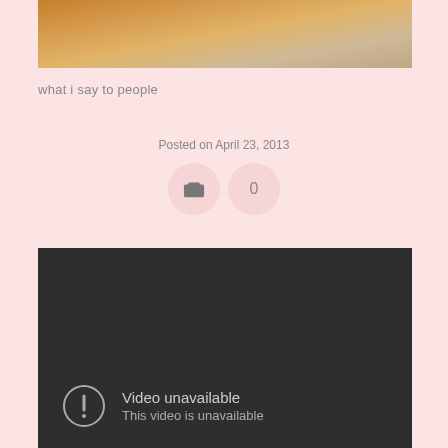[Figure (photo): Cropped photo of a dog or animal with orange/tan fur against a light background]
what i say to people
Posted on April 23, 2013
[Figure (other): Camera icon in a circle and comment count 0 in a circle]
[Figure (screenshot): Dark video player showing Video unavailable message with exclamation icon - 'Video unavailable' and 'This video is unavailable']